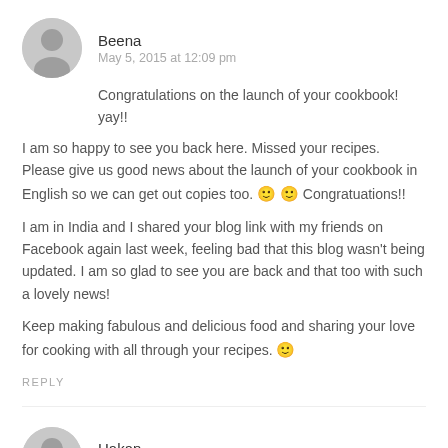Beena
May 5, 2015 at 12:09 pm
Congratulations on the launch of your cookbook! yay!!
I am so happy to see you back here. Missed your recipes. Please give us good news about the launch of your cookbook in English so we can get out copies too. 🙂 🙂 Congratuations!!
I am in India and I shared your blog link with my friends on Facebook again last week, feeling bad that this blog wasn't being updated. I am so glad to see you are back and that too with such a lovely news!
Keep making fabulous and delicious food and sharing your love for cooking with all through your recipes. 🙂
REPLY
Hakan
May 5, 2015 at 12:11 pm